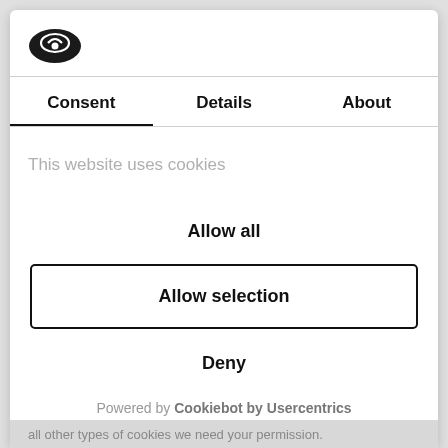[Figure (logo): Cookiebot logo — dark oval shape with a white checkmark/cookie icon]
Consent	Details	About
This website uses cookies
Allow all
Allow selection
Deny
Powered by Cookiebot by Usercentrics
all other types of cookies we need your permission.